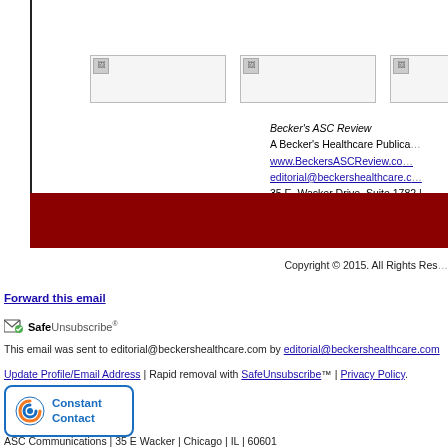[Figure (illustration): Three broken/placeholder image boxes in a row]
Becker's ASC Review
A Becker's Healthcare Publication
www.BeckersASCReview.com
editorial@beckershealthcare.com
35 E. Wacker Drive, Suite 1782 | Chicago
[Figure (illustration): Dark red/maroon horizontal banner bar]
Copyright © 2015. All Rights Reserved.
Forward this email
[Figure (logo): SafeUnsubscribe logo with checkmark and envelope icon]
This email was sent to editorial@beckershealthcare.com by editorial@beckershealthcare.com
Update Profile/Email Address | Rapid removal with SafeUnsubscribe™ | Privacy Policy.
[Figure (logo): Constant Contact logo in blue rounded rectangle]
ASC Communications | 35 E Wacker | Chicago | IL | 60601